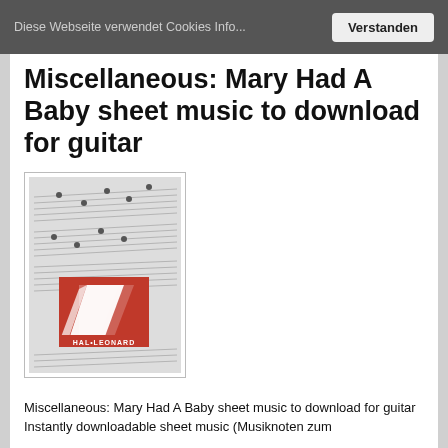Diese Webseite verwendet Cookies Info...   Verstanden
Miscellaneous: Mary Had A Baby sheet music to download for guitar
[Figure (photo): Book cover showing sheet music pages with Hal Leonard logo (red square with white stylized graphic)]
Miscellaneous: Mary Had A Baby sheet music to download for guitar
Instantly downloadable sheet music (Musiknoten zum